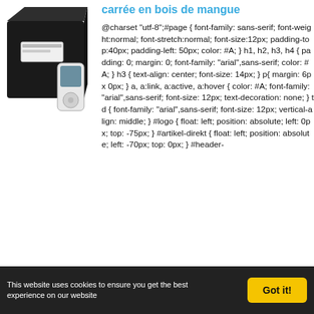[Figure (photo): Black square wooden box/storage unit with a small white label, and a white MP3 player (iPod-style device) leaning against it on the right side.]
carrée en bois de mangue
@charset "utf-8";#page { font-family: sans-serif; font-weight:normal; font-stretch:normal; font-size:12px; padding-top:40px; padding-left: 50px; color: #A; } h1, h2, h3, h4 { padding: 0; margin: 0; font-family: "arial",sans-serif; color: #A; } h3 { text-align: center; font-size: 14px; } p{ margin: 6px 0px; } a, a:link, a:active, a:hover { color: #A; font-family: "arial",sans-serif; font-size: 12px; text-decoration: none; } td { font-family: "arial",sans-serif; font-size: 12px; vertical-align: middle; } #logo { float: left; position: absolute; left: 0px; top: -75px; } #artikel-direkt { float: left; position: absolute; left: -70px; top: 0px; } #header-
This website uses cookies to ensure you get the best experience on our website
Got it!